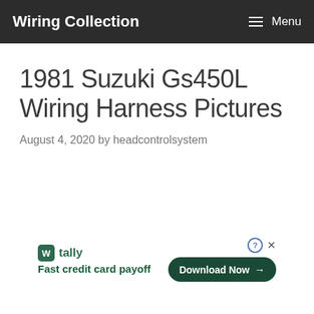Wiring Collection  Menu
1981 Suzuki Gs450L Wiring Harness Pictures
August 4, 2020 by headcontrolsystem
[Figure (other): Tally advertisement banner: Fast credit card payoff with Download Now button]